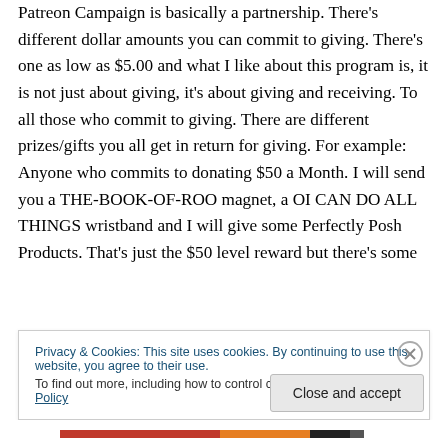Patreon Campaign is basically a partnership. There's different dollar amounts you can commit to giving. There's one as low as $5.00 and what I like about this program is, it is not just about giving, it's about giving and receiving. To all those who commit to giving. There are different prizes/gifts you all get in return for giving. For example: Anyone who commits to donating $50 a Month. I will send you a THE-BOOK-OF-ROO magnet, a OI CAN DO ALL THINGS wristband and I will give some Perfectly Posh Products. That's just the $50 level reward but there's some
Privacy & Cookies: This site uses cookies. By continuing to use this website, you agree to their use.
To find out more, including how to control cookies, see here: Cookie Policy
Close and accept